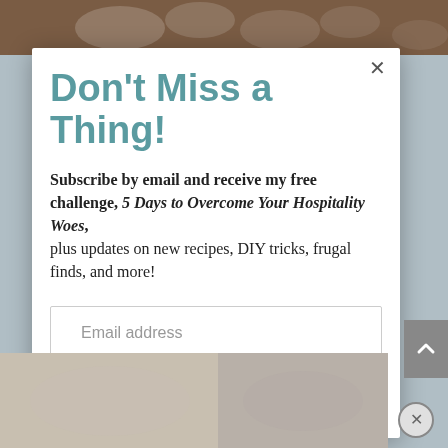[Figure (screenshot): Background showing decorative items on a wooden surface at the top of the page]
Don't Miss a Thing!
Subscribe by email and receive my free challenge, 5 Days to Overcome Your Hospitality Woes, plus updates on new recipes, DIY tricks, frugal finds, and more!
Email address
SUBSCRIBE
[Figure (screenshot): Background showing decorative images at the bottom of the page]